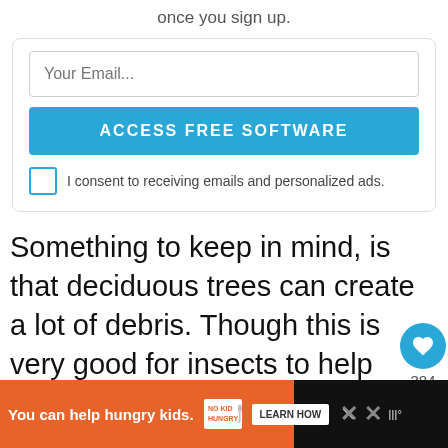once you sign up.
[Figure (screenshot): Email sign-up form with email input field, ACCESS FREE SOFTWARE button, and consent checkbox]
Something to keep in mind, is that deciduous trees can create a lot of debris. Though this is very good for insects to help protect and insulate them during the cold winter, it may not be ideal for the neatness of your prope...
[Figure (infographic): Advertisement bar: You can help hungry kids. No Kid Hungry. LEARN HOW]
You can help hungry kids. No Kid Hungry. LEARN HOW